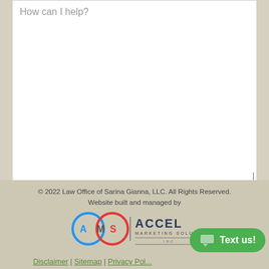How can I help?
Contact Us Now
© 2022 Law Office of Sarina Gianna, LLC. All Rights Reserved.
Website built and managed by
[Figure (logo): AMS Accel Marketing Solutions Inc logo]
Disclaimer | Sitemap | Privacy Policy